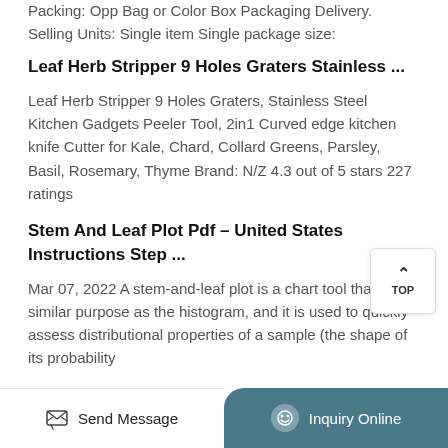Packing: Opp Bag or Color Box Packaging Delivery. Selling Units: Single item Single package size:
Leaf Herb Stripper 9 Holes Graters Stainless ...
Leaf Herb Stripper 9 Holes Graters, Stainless Steel Kitchen Gadgets Peeler Tool, 2in1 Curved edge kitchen knife Cutter for Kale, Chard, Collard Greens, Parsley, Basil, Rosemary, Thyme Brand: N/Z 4.3 out of 5 stars 227 ratings
Stem And Leaf Plot Pdf - United States Instructions Step ...
Mar 07, 2022 A stem-and-leaf plot is a chart tool that has a similar purpose as the histogram, and it is used to quickly assess distributional properties of a sample (the shape of its probability
Send Message   Inquiry Online